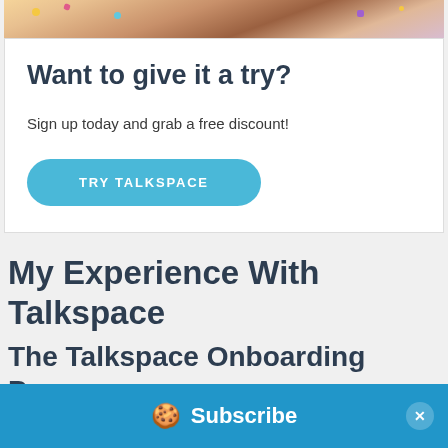[Figure (photo): Top portion of a photo showing a person with confetti, partially cropped]
Want to give it a try?
Sign up today and grab a free discount!
TRY TALKSPACE
My Experience With Talkspace
The Talkspace Onboarding Process
🍪 Subscribe